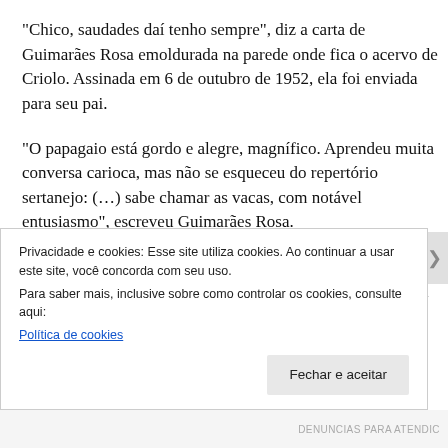“Chico, saudades daí tenho sempre”, diz a carta de Guimarães Rosa emoldurada na parede onde fica o acervo de Criolo. Assinada em 6 de outubro de 1952, ela foi enviada para seu pai.
“O papagaio está gordo e alegre, magnífico. Aprendeu muita conversa carioca, mas não se esqueceu do repertório sertanejo: (…) sabe chamar as vacas, com notável entusiasmo”, escreveu Guimarães Rosa.
Da comitiva de nove vaqueiros que acompanhou o escritor, Manuelzão se tornou o mais conhecido e morreu como uma fi…
Privacidade e cookies: Esse site utiliza cookies. Ao continuar a usar este site, você concorda com seu uso.
Para saber mais, inclusive sobre como controlar os cookies, consulte aqui:
Política de cookies
Fechar e aceitar